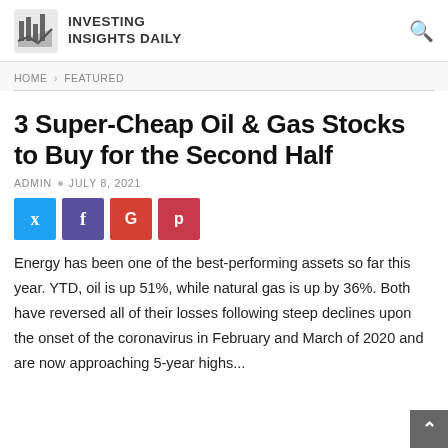INVESTING INSIGHTS DAILY
HOME > FEATURED
3 Super-Cheap Oil & Gas Stocks to Buy for the Second Half
ADMIN • JULY 8, 2021
[Figure (other): Social share buttons: Twitter, Facebook, Google+, Pinterest]
Energy has been one of the best-performing assets so far this year. YTD, oil is up 51%, while natural gas is up by 36%. Both have reversed all of their losses following steep declines upon the onset of the coronavirus in February and March of 2020 and are now approaching 5-year highs...